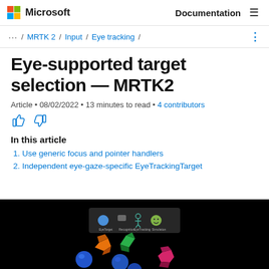Microsoft | Documentation
... / MRTK 2 / Input / Eye tracking /
Eye-supported target selection — MRTK2
Article • 08/02/2022 • 13 minutes to read • 4 contributors
In this article
1. Use generic focus and pointer handlers
2. Independent eye-gaze-specific EyeTrackingTarget
[Figure (screenshot): Screenshot of a mixed reality scene with colored 3D shapes (orange, green, blue, pink) and a UI toolbar with icons on a black background]